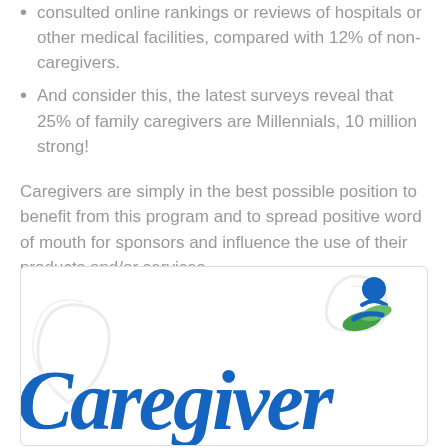consulted online rankings or reviews of hospitals or other medical facilities, compared with 12% of non-caregivers.
And consider this, the latest surveys reveal that 25% of family caregivers are Millennials, 10 million strong!
Caregivers are simply in the best possible position to benefit from this program and to spread positive word of mouth for sponsors and influence the use of their products and/or services.
[Figure (logo): Caregiver logo in blue italic script with a blue and green person/hand icon above the text on the right side, and light decorative swirl elements in the background.]